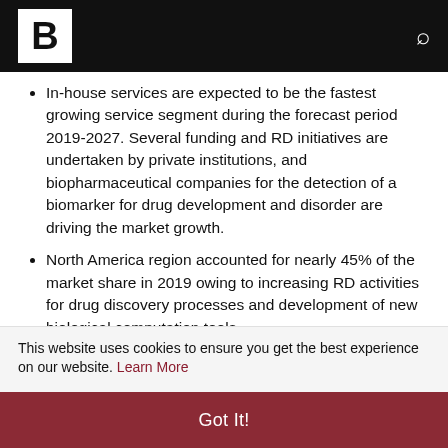B [logo] [search icon]
In-house services are expected to be the fastest growing service segment during the forecast period 2019-2027. Several funding and RD initiatives are undertaken by private institutions, and biopharmaceutical companies for the detection of a biomarker for drug development and disorder are driving the market growth.
North America region accounted for nearly 45% of the market share in 2019 owing to increasing RD activities for drug discovery processes and development of new biological computation tools.
This website uses cookies to ensure you get the best experience on our website. Learn More
Got It!